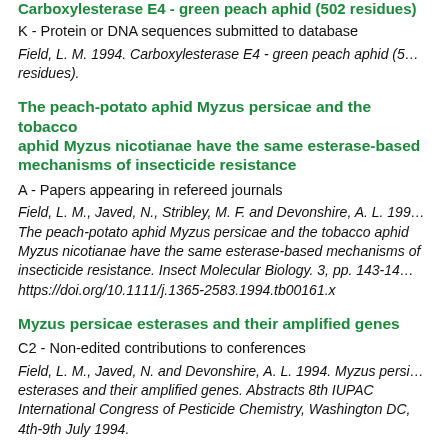Carboxylesterase E4 - green peach aphid (502 residues)
K - Protein or DNA sequences submitted to database
Field, L. M. 1994. Carboxylesterase E4 - green peach aphid (502 residues).
The peach-potato aphid Myzus persicae and the tobacco aphid Myzus nicotianae have the same esterase-based mechanisms of insecticide resistance
A - Papers appearing in refereed journals
Field, L. M., Javed, N., Stribley, M. F. and Devonshire, A. L. 1994. The peach-potato aphid Myzus persicae and the tobacco aphid Myzus nicotianae have the same esterase-based mechanisms of insecticide resistance. Insect Molecular Biology. 3, pp. 143-148. https://doi.org/10.1111/j.1365-2583.1994.tb00161.x
Myzus persicae esterases and their amplified genes
C2 - Non-edited contributions to conferences
Field, L. M., Javed, N. and Devonshire, A. L. 1994. Myzus persicae esterases and their amplified genes. Abstracts 8th IUPAC International Congress of Pesticide Chemistry, Washington DC, 4th-9th July 1994.